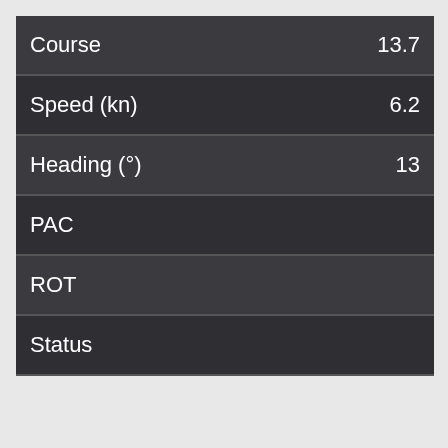| Field | Value |
| --- | --- |
| Course | 13.7 |
| Speed (kn) | 6.2 |
| Heading (°) | 13 |
| PAC |  |
| ROT |  |
| Status |  |